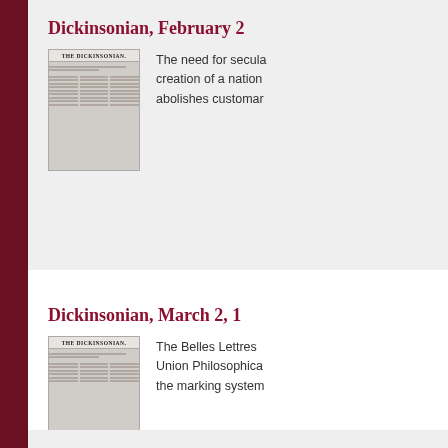Dickinsonian, February 2...
[Figure (photo): Black and white thumbnail image of The Dickinsonian newspaper front page]
The need for secula... creation of a nation... abolishes customar...
Dickinsonian, March 2, 1...
[Figure (photo): Black and white thumbnail image of The Dickinsonian newspaper front page]
The Belles Lettres ... Union Philosophica... the marking system...